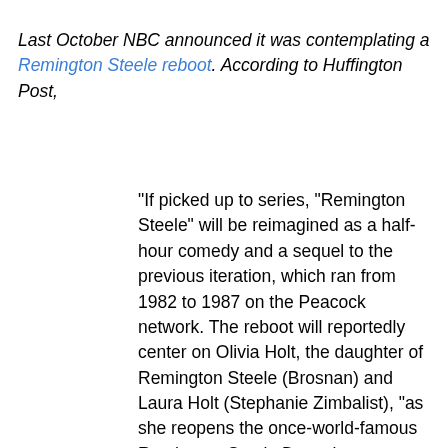Last October NBC announced it was contemplating a Remington Steele reboot. According to Huffington Post,
"If picked up to series, "Remington Steele" will be reimagined as a half-hour comedy and a sequel to the previous iteration, which ran from 1982 to 1987 on the Peacock network. The reboot will reportedly center on Olivia Holt, the daughter of Remington Steele (Brosnan) and Laura Holt (Stephanie Zimbalist), "as she reopens the once-world-famous Remington Steele Detective